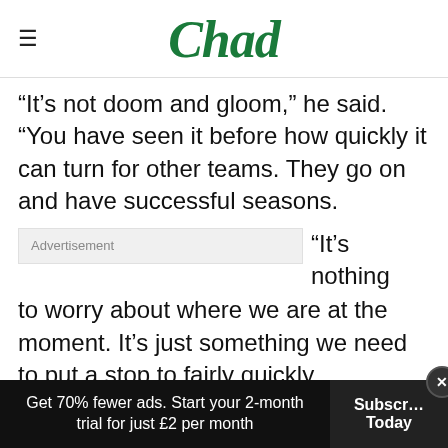Chad
“It’s not doom and gloom,” he said. “You have seen it before how quickly it can turn for other teams. They go on and have successful seasons.
“It’s nothing to worry about where we are at the moment. It’s just something we need to put a stop to fairly quickly.
“Once … outfit.
Get 70% fewer ads. Start your 2-month trial for just £2 per month